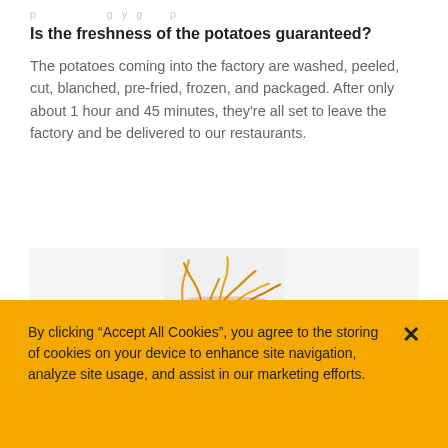Is the freshness of the potatoes guaranteed?
The potatoes coming into the factory are washed, peeled, cut, blanched, pre-fried, frozen, and packaged. After only about 1 hour and 45 minutes, they're all set to leave the factory and be delivered to our restaurants.
[Figure (photo): French fries / potato strips flying in the air against a light background]
By clicking “Accept All Cookies”, you agree to the storing of cookies on your device to enhance site navigation, analyze site usage, and assist in our marketing efforts.